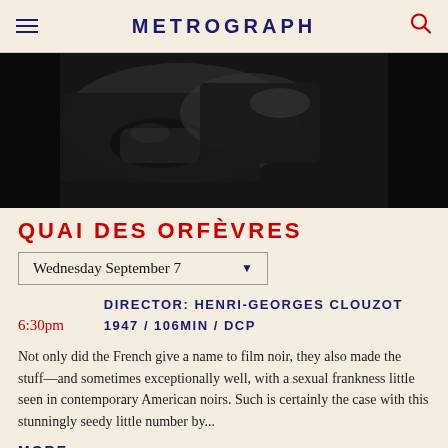METROGRAPH
[Figure (photo): Black and white film noir still showing hands and dark interior, possibly a car or interior space]
QUAI DES ORFÈVRES
Wednesday September 7
6:30pm
DIRECTOR: HENRI-GEORGES CLOUZOT 1947 / 106MIN / DCP
Not only did the French give a name to film noir, they also made the stuff—and sometimes exceptionally well, with a sexual frankness little seen in contemporary American noirs. Such is certainly the case with this stunningly seedy little number by...
MORE...